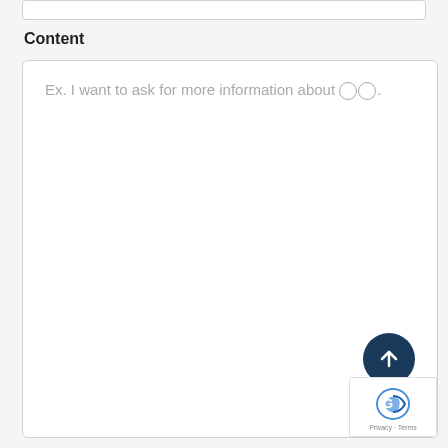Content
Ex. I want to ask for more information about ○○.
[Figure (other): Large empty text area input box with placeholder text and a dark blue circular upload/submit button with upward arrow icon, and a reCAPTCHA badge in the bottom-right corner.]